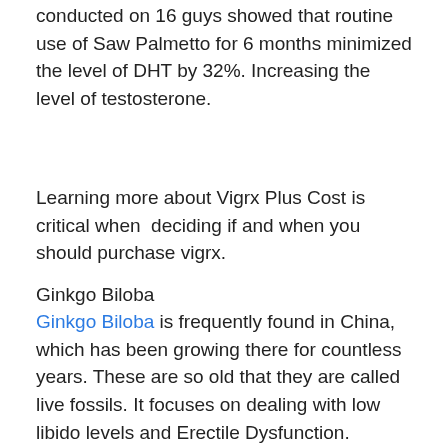conducted on 16 guys showed that routine use of Saw Palmetto for 6 months minimized the level of DHT by 32%. Increasing the level of testosterone.
Learning more about Vigrx Plus Cost is critical when  deciding if and when you should purchase vigrx.
Ginkgo Biloba
Ginkgo Biloba is frequently found in China, which has been growing there for countless years. These are so old that they are called live fossils. It focuses on dealing with low libido levels and Erectile Dysfunction. Ginkgo Biloba boosts the production of nitric oxide,